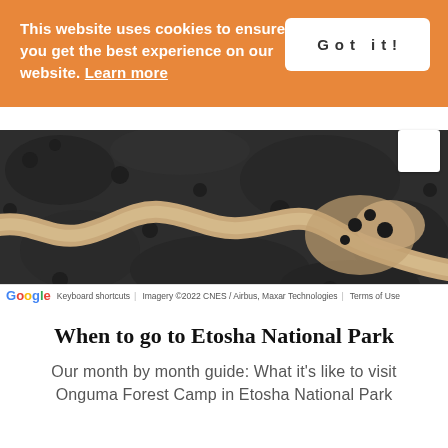This website uses cookies to ensure you get the best experience on our website. Learn more
Got it!
[Figure (map): Satellite/aerial view map showing a winding sandy river channel through dark scrubland vegetation, Google Maps imagery with attribution: Imagery ©2022 CNES / Airbus, Maxar Technologies | Terms of Use]
When to go to Etosha National Park
Our month by month guide: What it's like to visit Onguma Forest Camp in Etosha National Park